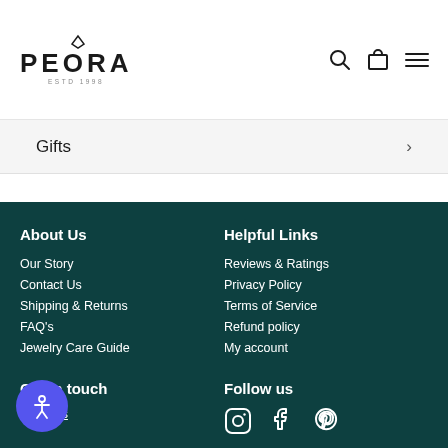PEORA — ESTD 1998 (logo with search, cart, menu icons)
Gifts →
About Us
Our Story
Contact Us
Shipping & Returns
FAQ's
Jewelry Care Guide
Helpful Links
Reviews & Ratings
Privacy Policy
Terms of Service
Refund policy
My account
Get in touch
Email us
Follow us
[Figure (illustration): Social media icons: Instagram, Facebook, Pinterest]